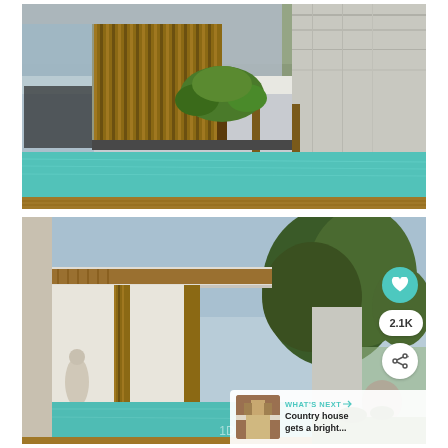[Figure (photo): Modern luxury house exterior with a tiled swimming pool in the foreground, wooden slatted facade panels, large glass windows, a bonsai tree in the center, and a white stone wall on the right side.]
[Figure (photo): Modern luxury house exterior showing a long corridor with wooden ceiling, white walls, swimming pool, and large trees in the background. UI overlay includes a teal heart button, 2.1K count badge, share button, and a 'WHAT'S NEXT' card preview for 'Country house gets a bright...'.]